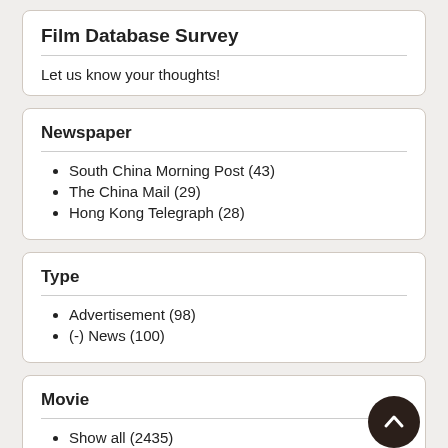Film Database Survey
Let us know your thoughts!
Newspaper
South China Morning Post (43)
The China Mail (29)
Hong Kong Telegraph (28)
Type
Advertisement (98)
(-) News (100)
Movie
Show all (2435)
Cinematograph (217)
Comic films (217)
War films (106)